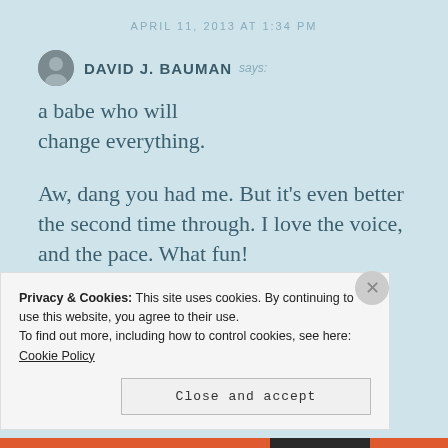APRIL 11, 2013 AT 1:34 PM
DAVID J. BAUMAN says:
a babe who will change everything.
Aw, dang you had me. But it’s even better the second time through. I love the voice, and the pace. What fun!
Privacy & Cookies: This site uses cookies. By continuing to use this website, you agree to their use.
To find out more, including how to control cookies, see here: Cookie Policy
Close and accept